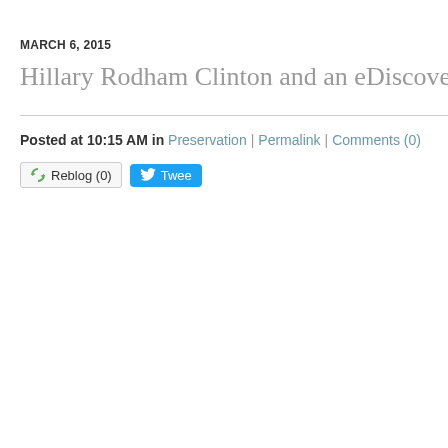MARCH 6, 2015
Hillary Rodham Clinton and an eDiscovery Teachable M
Posted at 10:15 AM in Preservation | Permalink | Comments (0)
[Figure (other): Reblog (0) button and Tweet button]